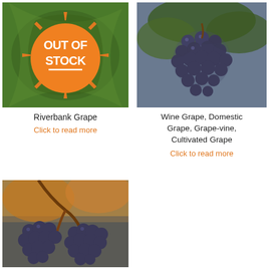[Figure (photo): Riverbank grape plant with green leaves, overlaid with an orange 'OUT OF STOCK' badge with orange burst/star rays]
Riverbank Grape
Click to read more
[Figure (photo): Close-up photo of dark blue/purple wine grapes hanging on the vine with green leaves in background]
Wine Grape, Domestic Grape, Grape-vine, Cultivated Grape
Click to read more
[Figure (photo): Close-up photo of dark blue/purple grapes in clusters hanging on vine with autumn-colored leaves in background]